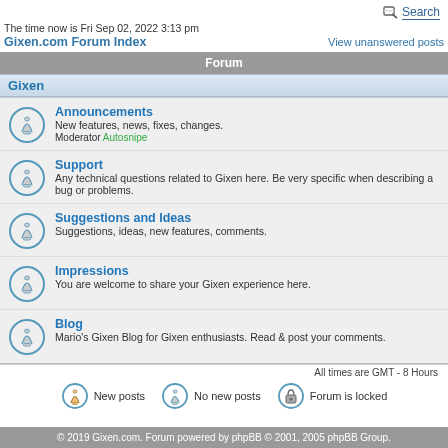Search
The time now is Fri Sep 02, 2022 3:13 pm
Gixen.com Forum Index
View unanswered posts
Forum
Gixen
Announcements - New features, news, fixes, changes. Moderator Autosnipe
Support - Any technical questions related to Gixen here. Be very specific when describing a bug or problems.
Suggestions and Ideas - Suggestions, ideas, new features, comments.
Impressions - You are welcome to share your Gixen experience here.
Blog - Mario's Gixen Blog for Gixen enthusiasts. Read & post your comments.
All times are GMT - 8 Hours
New posts   No new posts   Forum is locked
© 2019 Gixen.com. Forum powered by phpBB © 2001, 2005 phpBB Group.